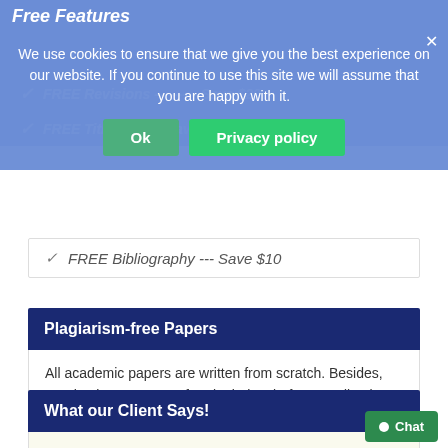Free Features
We use cookies to ensure that we give you the best experience on our website. If you continue to use this site we will assume that you are happy with it.
FREE Revisions ----------Save $20
FREE Title Page – Save
FREE Bibliography --- Save $10
Plagiarism-free Papers
All academic papers are written from scratch. Besides, we check every paper for plagiarism before sending it to our clients. Thus, we are always 100% sure that the paper is unique and original. We implement a zero-tolerance policy on plagiarism!
What our Client Says!